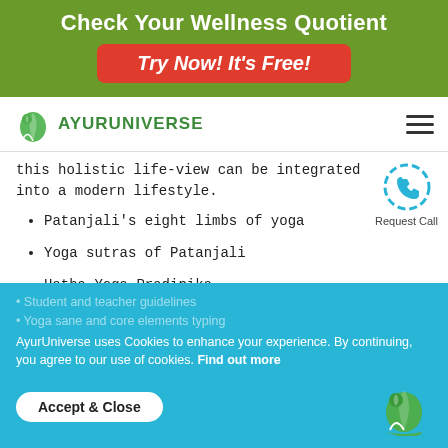Check Your Wellness Quotient
Try Now! It's Free!
[Figure (logo): AyurUniverse logo with leaf icon and green text]
this holistic life-view can be integrated into a modern lifestyle.
Patanjali's eight limbs of yoga
Yoga sutras of Patanjali
Hatha Yoga Pradipika
Panch koshas
Bhagwat Gita Philosophy
Mudras and chakras
Teaching Methodology
Techniques of teaching yoga
Student and teacher guidelines
Yoga sane and core elements typing
AyurUniverse uses Cookies to enhance your experience. By continuing, you agree to our use of cookies. Find out more
Accept & Close